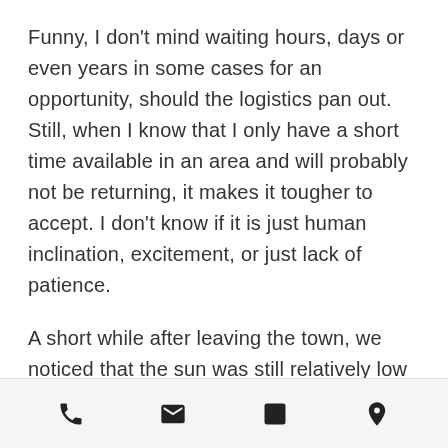Funny, I don't mind waiting hours, days or even years in some cases for an opportunity, should the logistics pan out. Still, when I know that I only have a short time available in an area and will probably not be returning, it makes it tougher to accept. I don't know if it is just human inclination, excitement, or just lack of patience.
A short while after leaving the town, we noticed that the sun was still relatively low in the sky, and the heavy cloud cover of the morning had lifted a bit. I couldn't help wondering, "What if?" so we turned around and headed back. The light was tinged...
[phone] [email] [facebook] [location]